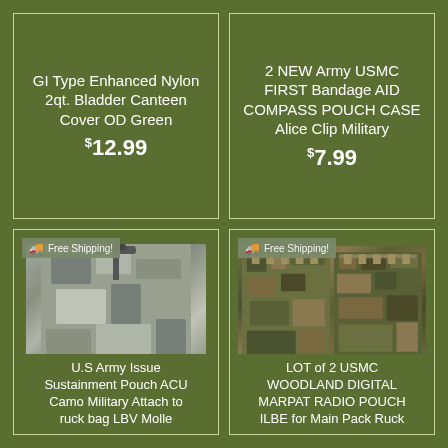GI Type Enhanced Nylon 2qt. Bladder Canteen Cover OD Green $12.99
2 NEW Army USMC FIRST Bandage AID COMPASS POUCH CASE Alice Clip Military $7.99
[Figure (photo): ACU digital camouflage sustainment pouch with buckle closure]
U.S Army Issue Sustainment Pouch ACU Camo Military Attach to ruck bag LBV Molle
[Figure (photo): USMC MARPAT woodland digital radio pouches x2, tan/green camouflage]
LOT of 2 USMC WOODLAND DIGITAL MARPAT RADIO POUCH ILBE for Main Pack Ruck